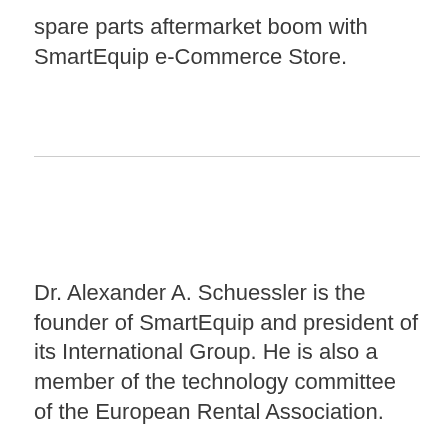spare parts aftermarket boom with SmartEquip e-Commerce Store.
Dr. Alexander A. Schuessler is the founder of SmartEquip and president of its International Group. He is also a member of the technology committee of the European Rental Association.